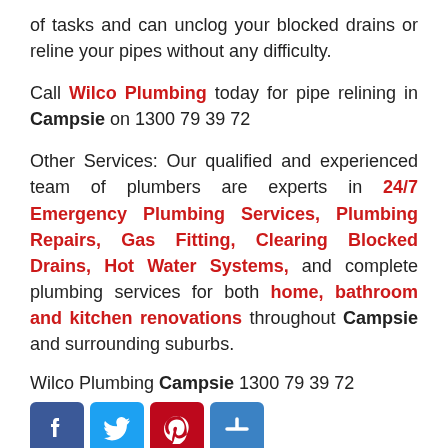of tasks and can unclog your blocked drains or reline your pipes without any difficulty.
Call Wilco Plumbing today for pipe relining in Campsie on 1300 79 39 72
Other Services: Our qualified and experienced team of plumbers are experts in 24/7 Emergency Plumbing Services, Plumbing Repairs, Gas Fitting, Clearing Blocked Drains, Hot Water Systems, and complete plumbing services for both home, bathroom and kitchen renovations throughout Campsie and surrounding suburbs.
Wilco Plumbing Campsie 1300 79 39 72
[Figure (infographic): Social media share icons: Facebook (blue), Twitter (light blue), Pinterest (dark red), Plus/Share (blue)]